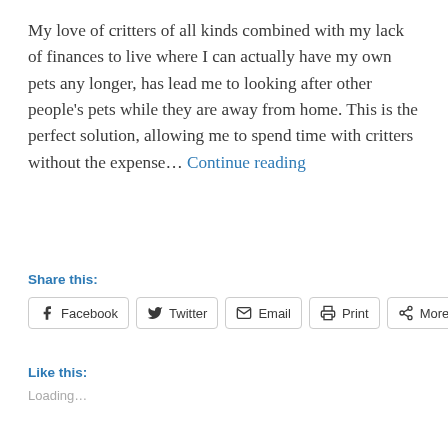My love of critters of all kinds combined with my lack of finances to live where I can actually have my own pets any longer, has lead me to looking after other people's pets while they are away from home. This is the perfect solution, allowing me to spend time with critters without the expense... Continue reading
Share this:
Facebook  Twitter  Email  Print  More
Like this:
Loading...